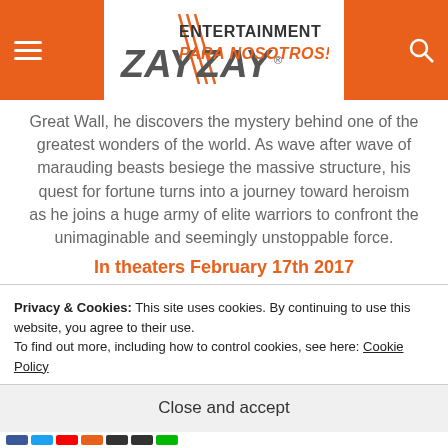ZAY ZAY. ENTERTAINMENT PARA NOSOTROS!
Great Wall, he discovers the mystery behind one of the greatest wonders of the world. As wave after wave of marauding beasts besiege the massive structure, his quest for fortune turns into a journey toward heroism as he joins a huge army of elite warriors to confront the unimaginable and seemingly unstoppable force.
In theaters February 17th 2017
Register to qualify for a chance to win a pair of tickets in the following cities
Privacy & Cookies: This site uses cookies. By continuing to use this website, you agree to their use.
To find out more, including how to control cookies, see here: Cookie Policy
Close and accept